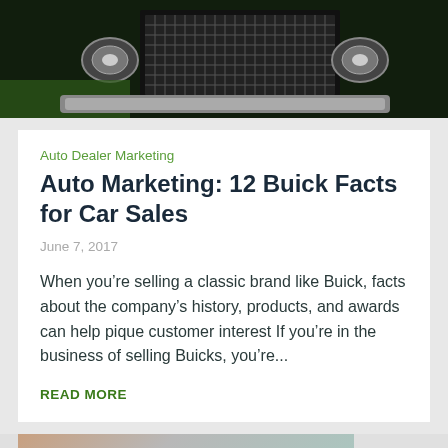[Figure (photo): Close-up photo of a classic Buick car front grille and chrome details, black and dark green tones]
Auto Dealer Marketing
Auto Marketing: 12 Buick Facts for Car Sales
June 7, 2017
When you’re selling a classic brand like Buick, facts about the company’s history, products, and awards can help pique customer interest If you’re in the business of selling Buicks, you’re...
READ MORE
[Figure (photo): Partial view of another article's thumbnail image at bottom of page]